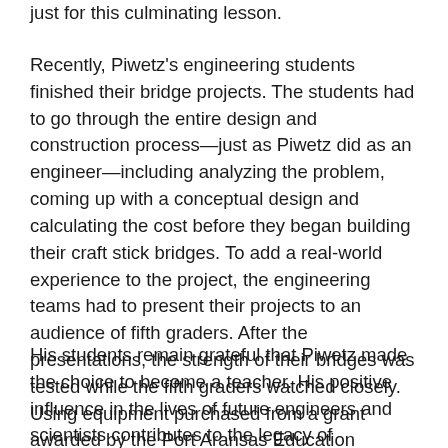just for this culminating lesson.
Recently, Piwetz's engineering students finished their bridge projects. The students had to go through the entire design and construction process—just as Piwetz did as an engineer—including analyzing the problem, coming up with a conceptual design and calculating the cost before they began building their craft stick bridges. To add a real-world experience to the project, the engineering teams had to present their projects to an audience of fifth graders. After the presentations, the strength of their bridges was tested while the fifth graders watched closely. Using equipment purchased from a grant awarded by the Port Aransas Education Foundation, the strength test was recorded on video and data was collected for future analysis.
His students remain grateful that Piwetz made the choice to become a teacher. His positive influence in the lives of future engineers and scientists contributes to the legacy of excellence in Texas public education. #IAmTXEd Port